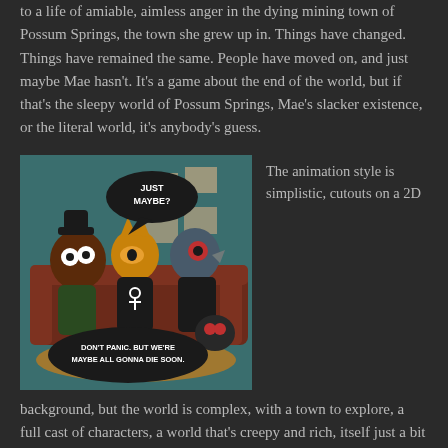to a life of amiable, aimless anger in the dying mining town of Possum Springs, the town she grew up in. Things have changed. Things have remained the same. People have moved on, and just maybe Mae hasn't. It's a game about the end of the world, but if that's the sleepy world of Possum Springs, Mae's slacker existence, or the literal world, it's anybody's guess.
[Figure (screenshot): Screenshot from Night in the Woods game showing cartoon animal characters sitting on a couch. Speech bubble says 'JUST MAYBE?' and another says 'DON'T PANIC. BUT WE'RE MAYBE ALL GONNA DIE SOON.']
The animation style is simplistic, cutouts on a 2D
background, but the world is complex, with a town to explore, a full cast of characters, a world that's creepy and rich, itself just a bit strange around the edges (I'm reminded of the bizaare "anytown but thank god not MY town" of Welcome to Night Vale–in fact, the animator for the game designed Night Vale's logo) with stranger things in the